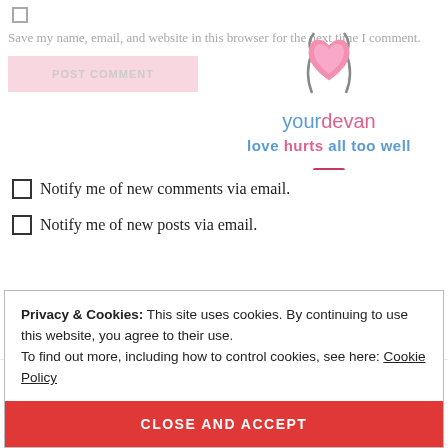Save my name, email, and website in this browser for the next time I comment.
[Figure (logo): yourdevan website logo with heart graphic, tagline 'love hurts all too well', and hamburger menu icon]
Notify me of new comments via email.
Notify me of new posts via email.
Privacy & Cookies: This site uses cookies. By continuing to use this website, you agree to their use. To find out more, including how to control cookies, see here: Cookie Policy
CLOSE AND ACCEPT